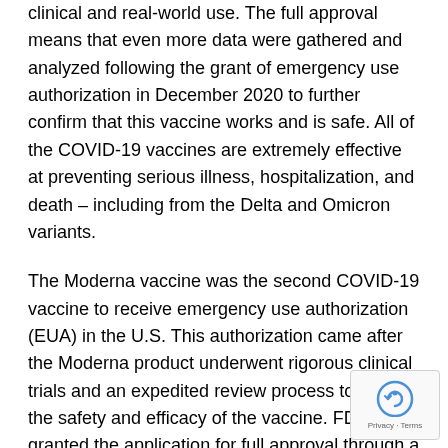clinical and real-world use. The full approval means that even more data were gathered and analyzed following the grant of emergency use authorization in December 2020 to further confirm that this vaccine works and is safe. All of the COVID-19 vaccines are extremely effective at preventing serious illness, hospitalization, and death – including from the Delta and Omicron variants.
The Moderna vaccine was the second COVID-19 vaccine to receive emergency use authorization (EUA) in the U.S. This authorization came after the Moderna product underwent rigorous clinical trials and an expedited review process to ensure the safety and efficacy of the vaccine. FDA granted the application for full approval through a priority review(link is external) designation, and reviewed updated data from the clinical trial which supported the EUA and included a longer duration of follow-up in a larger clinical trial population.